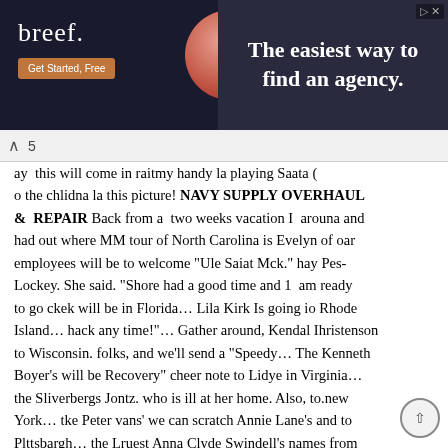[Figure (other): Advertisement banner for 'breef.' agency finder service with tagline 'The easiest way to find an agency.' showing a person and a Get Started Free button]
ay this will come in raitmy handy la playing Saata ( o the chlidna la this picture! NAVY SUPPLY OVERHAUL & REPAIR Back from a two weeks vacation I arouna and had out where MM tour of North Carolina is Evelyn of oar employees will be to welcome "Ule Saiat Mck." hay Pes-Lockey. She said. "Shore had a good time and 1 am ready to go ckek will be in Florida... Lila Kirk Is going io Rhode Island... hack any time!"... Gather around, Kendal Ihristenson to Wisconsin. folks, and we'll send a "Speedy... The Kenneth Boyer's will be Recovery" cheer note to Lidye in Virginia... the Sliverbergs Jontz. who is ill at her home. Also, to.new York... tke Peter vans' we can scratch Annie Lane's and to Plttsbargh... the Lruest Anna Clyde Swindell's names from Provo's to Buffalo, >'l... and the the sick list, nice to have both of Larry Hodgson's to Washington, II. C. you back... While moat of Supply employees enjoyed a quiet weekend We have a few employees who at home "just a-sitting and a- are celebrating birthdays this rocking," Anita Hood Shopped in month, three who are Christmas Kinston - ll... ... D... t ... t ... d D... ld t... P... th... H... lt... M...